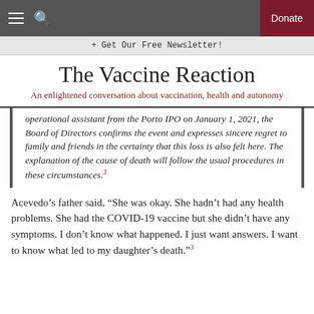The Vaccine Reaction — An enlightened conversation about vaccination, health and autonomy
+ Get Our Free Newsletter!
The Vaccine Reaction
An enlightened conversation about vaccination, health and autonomy
operational assistant from the Porto IPO on January 1, 2021, the Board of Directors confirms the event and expresses sincere regret to family and friends in the certainty that this loss is also felt here. The explanation of the cause of death will follow the usual procedures in these circumstances.3
Acevedo’s father said, “She was okay. She hadn’t had any health problems. She had the COVID-19 vaccine but she didn’t have any symptoms. I don’t know what happened. I just want answers. I want to know what led to my daughter’s death.”3